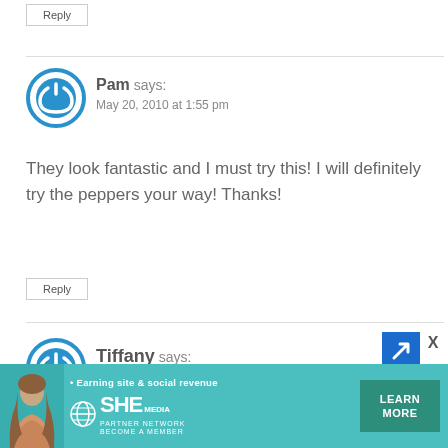Reply
Pam says:
May 20, 2010 at 1:55 pm
They look fantastic and I must try this! I will definitely try the peppers your way! Thanks!
Reply
Tiffany says:
[Figure (infographic): SHE Media Partner Network advertisement banner with photo of woman, earn site and social revenue tagline, SHE logo, LEARN MORE button]